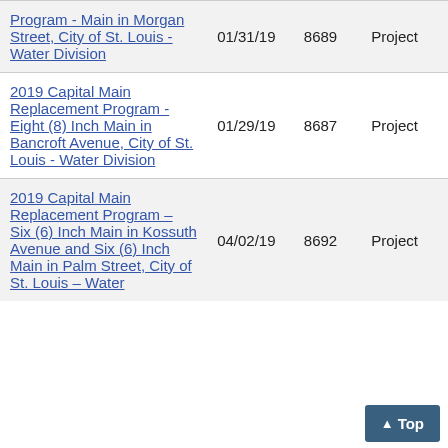| Project Title | Date | ID | Type |
| --- | --- | --- | --- |
| Program - Main in Morgan Street, City of St. Louis - Water Division | 01/31/19 | 8689 | Project |
| 2019 Capital Main Replacement Program - Eight (8) Inch Main in Bancroft Avenue, City of St. Louis - Water Division | 01/29/19 | 8687 | Project |
| 2019 Capital Main Replacement Program – Six (6) Inch Main in Kossuth Avenue and Six (6) Inch Main in Palm Street, City of St. Louis – Water | 04/02/19 | 8692 | Project |